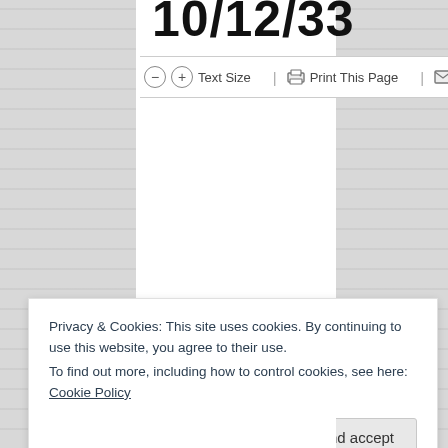10/12/33
− + Text Size | Print This Page | Send by Email
Privacy & Cookies: This site uses cookies. By continuing to use this website, you agree to their use.
To find out more, including how to control cookies, see here: Cookie Policy
Close and accept